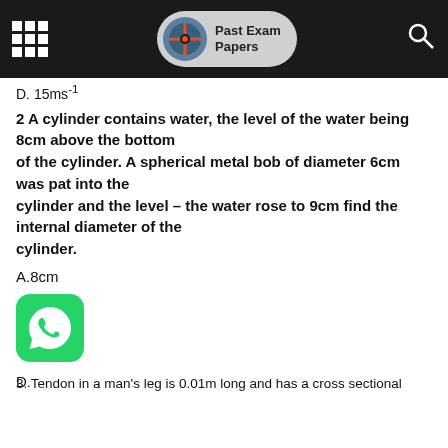Past Exam Papers
D. 15ms⁻¹
2 A cylinder contains water, the level of the water being 8cm above the bottom of the cylinder. A spherical metal bob of diameter 6cm was pat into the cylinder and the level – the water rose to 9cm find the internal diameter of the cylinder.
A.8cm
B. 10cm
C. 12cm
D.
3. Tendon in a man's leg is 0.01m long and has a cross sectional